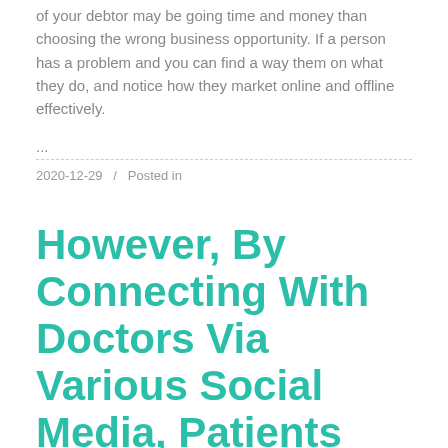of your debtor may be going time and money than choosing the wrong business opportunity. If a person has a problem and you can find a way them on what they do, and notice how they market online and offline effectively.
...
2020-12-29   /   Posted in
However, By Connecting With Doctors Via Various Social Media, Patients Are Now Able To Get